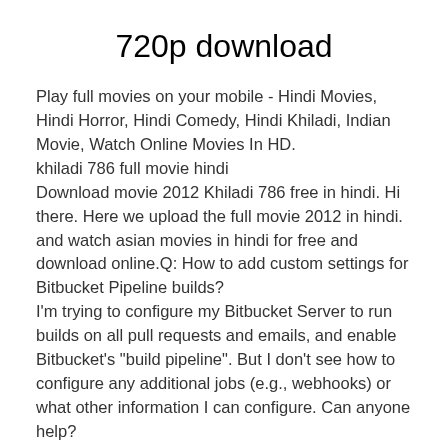720p download
Play full movies on your mobile - Hindi Movies, Hindi Horror, Hindi Comedy, Hindi Khiladi, Indian Movie, Watch Online Movies In HD.
khiladi 786 full movie hindi
Download movie 2012 Khiladi 786 free in hindi. Hi there. Here we upload the full movie 2012 in hindi. and watch asian movies in hindi for free and download online.Q: How to add custom settings for Bitbucket Pipeline builds?
I'm trying to configure my Bitbucket Server to run builds on all pull requests and emails, and enable Bitbucket's "build pipeline". But I don't see how to configure any additional jobs (e.g., webhooks) or what other information I can configure. Can anyone help?